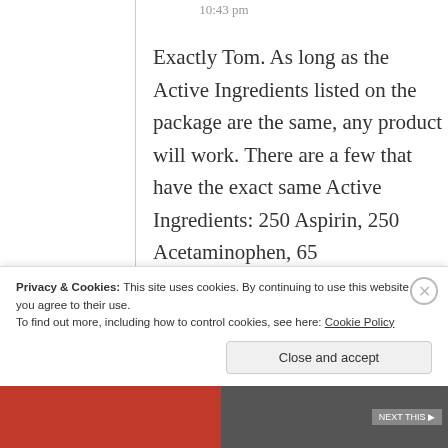10:43 pm
Exactly Tom. As long as the Active Ingredients listed on the package are the same, any product will work. There are a few that have the exact same Active Ingredients: 250 Aspirin, 250 Acetaminophen, 65
Privacy & Cookies: This site uses cookies. By continuing to use this website, you agree to their use.
To find out more, including how to control cookies, see here: Cookie Policy
Close and accept